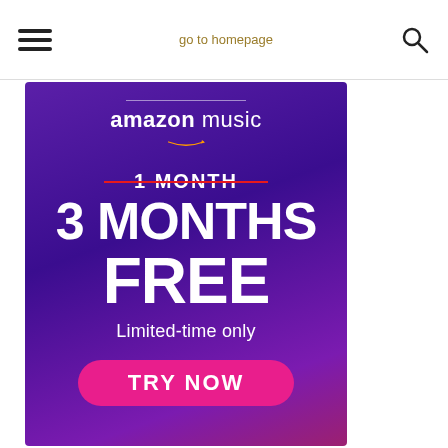go to homepage
[Figure (infographic): Amazon Music advertisement banner with purple gradient background. Shows '1 MONTH' crossed out with red strikethrough, then '3 MONTHS FREE' in large bold white text, 'Limited-time only' subtitle, and a pink 'TRY NOW' button at the bottom.]